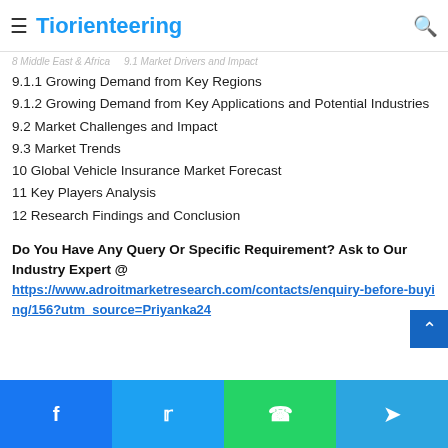Tiorienteering
9.1.1 Growing Demand from Key Regions
9.1.2 Growing Demand from Key Applications and Potential Industries
9.2 Market Challenges and Impact
9.3 Market Trends
10 Global Vehicle Insurance Market Forecast
11 Key Players Analysis
12 Research Findings and Conclusion
Do You Have Any Query Or Specific Requirement? Ask to Our Industry Expert @ https://www.adroitmarketresearch.com/contacts/enquiry-before-buying/156?utm_source=Priyanka24